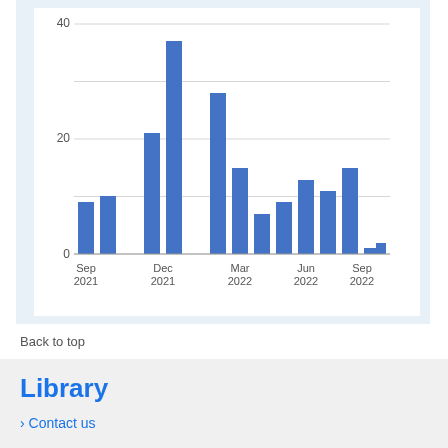[Figure (bar-chart): ]
Back to top
Library
Contact us
The University of Glasgow is a registered Scottish charity: Registration Number SC004401